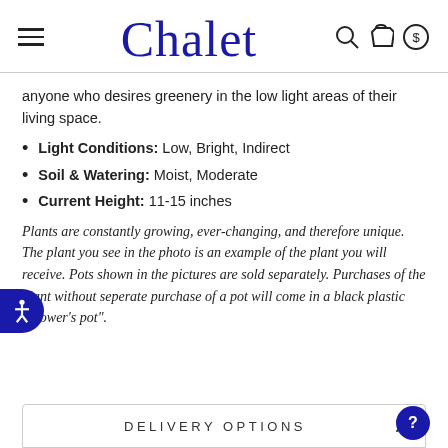Chalet
anyone who desires greenery in the low light areas of their living space.
Light Conditions: Low, Bright, Indirect
Soil & Watering: Moist, Moderate
Current Height: 11-15 inches
Plants are constantly growing, ever-changing, and therefore unique. The plant you see in the photo is an example of the plant you will receive. Pots shown in the pictures are sold separately. Purchases of the plant without seperate purchase of a pot will come in a black plastic "grower's pot".
DELIVERY OPTIONS